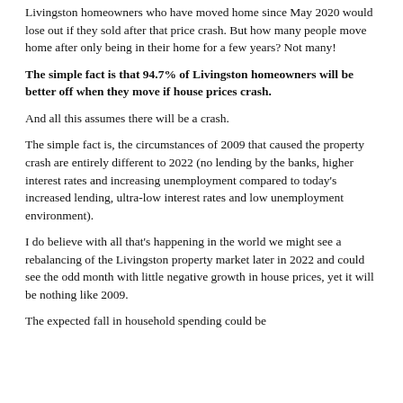Livingston homeowners who have moved home since May 2020 would lose out if they sold after that price crash. But how many people move home after only being in their home for a few years? Not many!
The simple fact is that 94.7% of Livingston homeowners will be better off when they move if house prices crash.
And all this assumes there will be a crash.
The simple fact is, the circumstances of 2009 that caused the property crash are entirely different to 2022 (no lending by the banks, higher interest rates and increasing unemployment compared to today's increased lending, ultra-low interest rates and low unemployment environment).
I do believe with all that's happening in the world we might see a rebalancing of the Livingston property market later in 2022 and could see the odd month with little negative growth in house prices, yet it will be nothing like 2009.
The expected fall in household spending could be